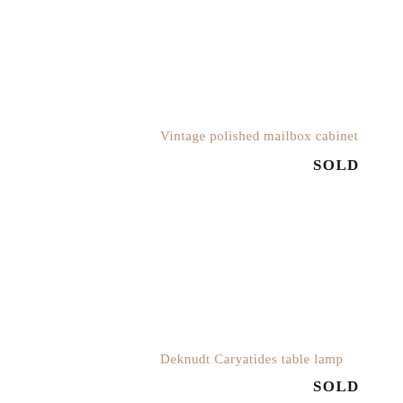Vintage polished mailbox cabinet
SOLD
Deknudt Caryatides table lamp
SOLD